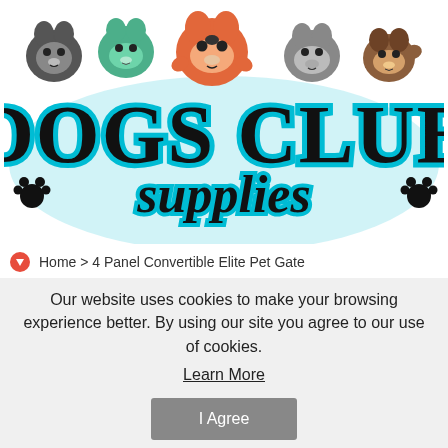[Figure (logo): Dogs Club Supplies logo with cartoon dog faces and paw prints, teal and black lettering]
Home > 4 Panel Convertible Elite Pet Gate
Our website uses cookies to make your browsing experience better. By using our site you agree to our use of cookies.
Learn More
I Agree